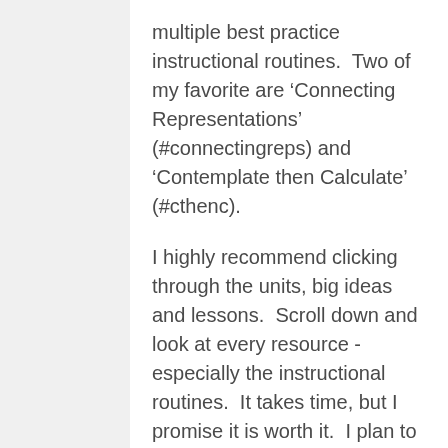multiple best practice instructional routines.  Two of my favorite are ‘Connecting Representations’ (#connectingreps) and ‘Contemplate then Calculate’ (#cthenc).
I highly recommend clicking through the units, big ideas and lessons.  Scroll down and look at every resource - especially the instructional routines.  It takes time, but I promise it is worth it.  I plan to use several of these in my classroom this fall.  Here are just a taste.  There is a lot more description on these at the site.  One other tip – search the hastags #connectingreps & #cthenc on twitter for more ideas and resources.